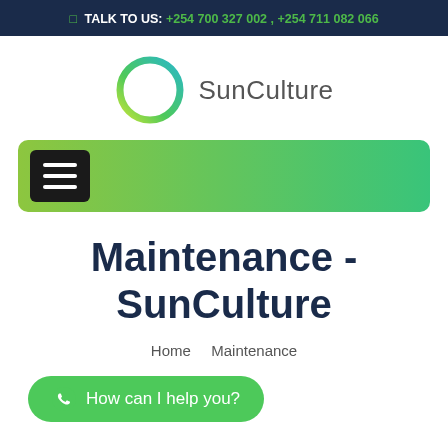TALK TO US: +254 700 327 002 , +254 711 082 066
[Figure (logo): SunCulture logo: circular ring gradient from yellow-green to teal with 'SunCulture' text in grey]
[Figure (other): Green gradient navigation bar with hamburger menu icon on black square background]
Maintenance - SunCulture
Home    Maintenance
How can I help you?